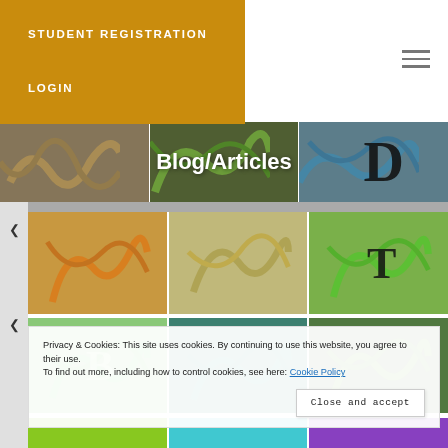[Figure (screenshot): Dropdown navigation menu with golden/amber background showing STUDENT REGISTRATION and LOGIN menu items]
STUDENT REGISTRATION
LOGIN
[Figure (illustration): Blog/Articles banner with abstract swirly background images in three columns; right column shows a large letter D]
[Figure (illustration): Grid of abstract swirly colorful image thumbnails arranged in rows]
Privacy & Cookies: This site uses cookies. By continuing to use this website, you agree to their use.
To find out more, including how to control cookies, see here: Cookie Policy
Close and accept